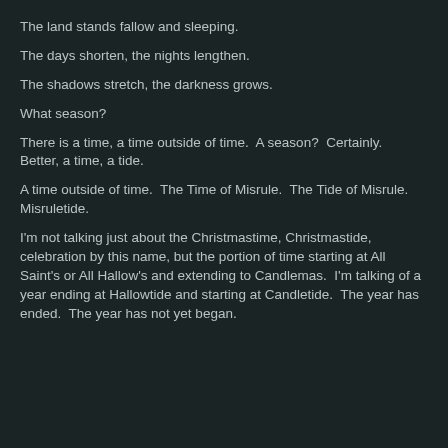The land stands fallow and sleeping.
The days shorten, the nights lengthen.
The shadows stretch, the darkness grows.
What season?
There is a time, a time outside of time.  A season?  Certainly.  Better, a time, a tide.
A time outside of time.  The Time of Misrule.  The Tide of Misrule.  Misruletide.
I'm not talking just about the Christmastime, Christmastide, celebration by this name, but the portion of time starting at All Saint's or All Hallow's and extending to Candlemas.  I'm talking of a year ending at Hallowtide and starting at Candletide.  The year has ended.  The year has not yet began.